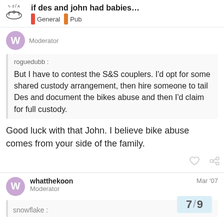if des and john had babies... General Pub
Moderator
roguedubb :
But I have to contest the S&S couplers. I'd opt for some shared custody arrangement, then hire someone to tail Des and document the bikes abuse and then I'd claim for full custody.
Good luck with that John. I believe bike abuse comes from your side of the family.
whatthekoon
Moderator
Mar '07
snowflake :
7 / 9